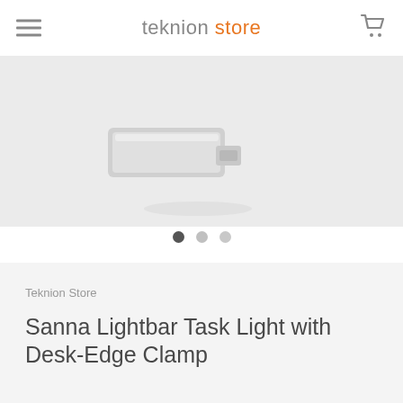teknion store
[Figure (photo): Partial view of a white/silver Sanna Lightbar Task Light product on a light gray background, showing the lamp head and clamp mechanism]
● ○ ○ (slideshow dots, first active)
Teknion Store
Sanna Lightbar Task Light with Desk-Edge Clamp